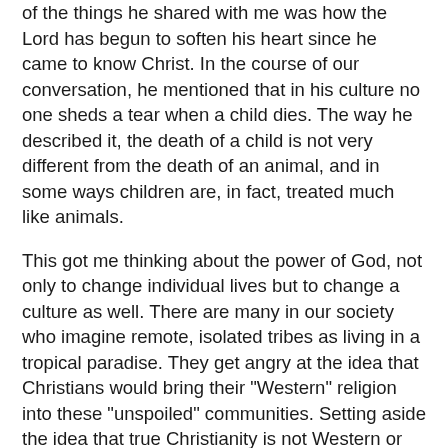of the things he shared with me was how the Lord has begun to soften his heart since he came to know Christ. In the course of our conversation, he mentioned that in his culture no one sheds a tear when a child dies. The way he described it, the death of a child is not very different from the death of an animal, and in some ways children are, in fact, treated much like animals.
This got me thinking about the power of God, not only to change individual lives but to change a culture as well. There are many in our society who imagine remote, isolated tribes as living in a tropical paradise. They get angry at the idea that Christians would bring their "Western" religion into these "unspoiled" communities. Setting aside the idea that true Christianity is not Western or American, what they don't realize is that many people who have been isolated from the modern world do not live in paradise. They die of preventable illness, have high rates of infant mortality, and often live with superstitions and beliefs that keep them in bondage to fear—and can lead to tribal warfare and murder. Often, women and children are given little value. Most importantly, they live and die without ever having experienced the light of Jesus and the true life that's